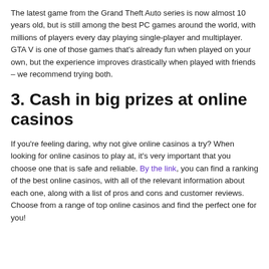The latest game from the Grand Theft Auto series is now almost 10 years old, but is still among the best PC games around the world, with millions of players every day playing single-player and multiplayer. GTA V is one of those games that's already fun when played on your own, but the experience improves drastically when played with friends – we recommend trying both.
3. Cash in big prizes at online casinos
If you're feeling daring, why not give online casinos a try? When looking for online casinos to play at, it's very important that you choose one that is safe and reliable. By the link, you can find a ranking of the best online casinos, with all of the relevant information about each one, along with a list of pros and cons and customer reviews. Choose from a range of top online casinos and find the perfect one for you!